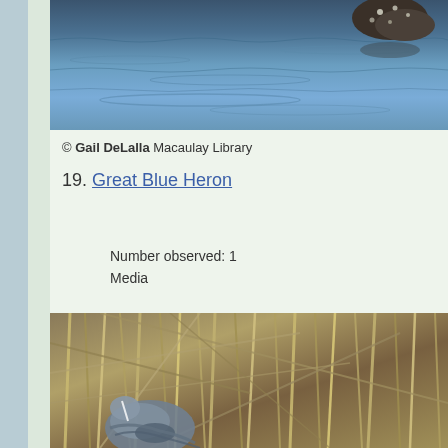[Figure (photo): A water bird (duck/loon) on rippling blue water, partially cropped at top of page]
© Gail DeLalla Macaulay Library
19. Great Blue Heron
Number observed: 1
Media
[Figure (photo): A Great Blue Heron standing among dense dry reeds/cattails marsh vegetation]